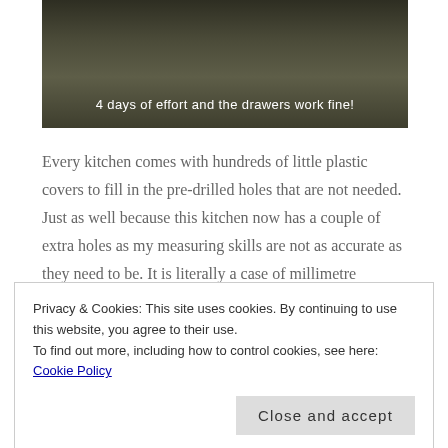[Figure (photo): Dark-toned photograph of kitchen drawers/cabinets with overlay caption text]
4 days of effort and the drawers work fine!
Every kitchen comes with hundreds of little plastic covers to fill in the pre-drilled holes that are not needed. Just as well because this kitchen now has a couple of extra holes as my measuring skills are not as accurate as they need to be. It is literally a case of millimetre accuracy. I started borrowing Neil's glasses – that helped.
Privacy & Cookies: This site uses cookies. By continuing to use this website, you agree to their use.
To find out more, including how to control cookies, see here: Cookie Policy
Close and accept